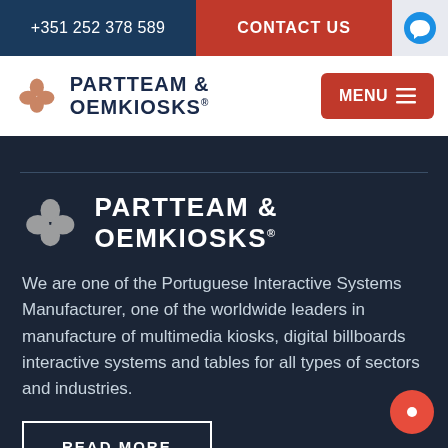+351 252 378 589 | CONTACT US
[Figure (logo): PARTTEAM & OEMKIOSKS logo with shamrock/flower icon in navigation bar]
MENU
[Figure (logo): PARTTEAM & OEMKIOSKS logo with shamrock/flower icon on dark background]
We are one of the Portuguese Interactive Systems Manufacturer, one of the worldwide leaders in manufacture of multimedia kiosks, digital billboards interactive systems and tables for all types of sectors and industries.
READ MORE